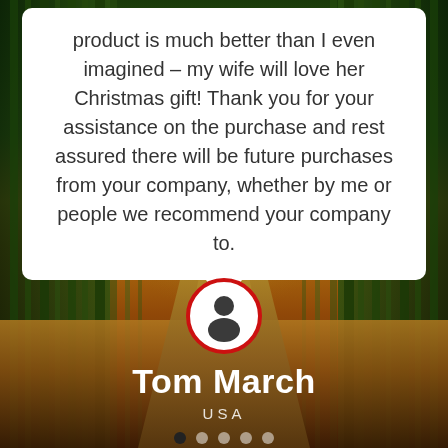product is much better than I even imagined – my wife will love her Christmas gift! Thank you for your assistance on the purchase and rest assured there will be future purchases from your company, whether by me or people we recommend your company to.
[Figure (illustration): Bamboo forest path background image with warm golden and green tones, showing a path leading through tall bamboo trees]
[Figure (illustration): Circular avatar icon with red border showing a generic person silhouette on white background]
Tom March
USA
Carousel navigation dots, first dot active (dark), four remaining dots light/inactive